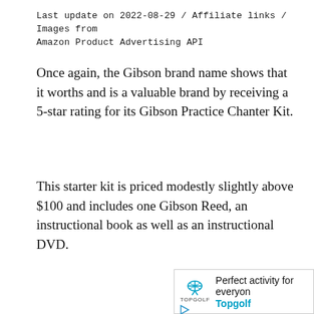Last update on 2022-08-29 / Affiliate links / Images from Amazon Product Advertising API
Once again, the Gibson brand name shows that it worths and is a valuable brand by receiving a 5-star rating for its Gibson Practice Chanter Kit.
This starter kit is priced modestly slightly above $100 and includes one Gibson Reed, an instructional book as well as an instructional DVD.
[Figure (other): Topgolf advertisement banner showing logo and text 'Perfect activity for everyone' with Topgolf brand name and a play button icon]